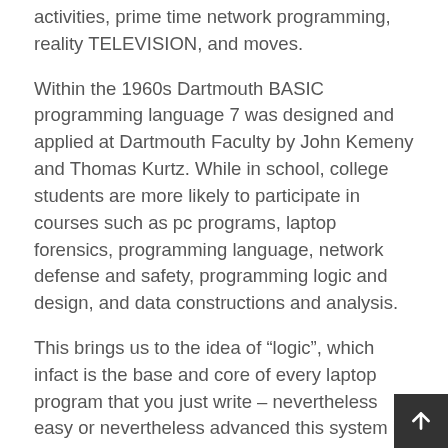activities, prime time network programming, reality TELEVISION, and moves.
Within the 1960s Dartmouth BASIC programming language 7 was designed and applied at Dartmouth Faculty by John Kemeny and Thomas Kurtz. While in school, college students are more likely to participate in courses such as pc programs, laptop forensics, programming language, network defense and safety, programming logic and design, and data constructions and analysis.
This brings us to the idea of “logic”, which infact is the base and core of every laptop program that you just write – nevertheless easy or nevertheless advanced this system is likely to be. The logic, in easy phrases could be seen as the “trick” behind the solution of an issue.